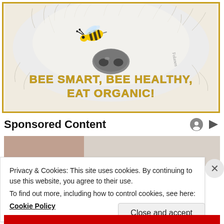[Figure (illustration): Illustrated advertisement with a fluffy white dog nose and a bee, with text 'BEE SMART, BEE HEALTHY, EAT ORGANIC!' in gold letters on a cream background with gold border.]
Sponsored Content
[Figure (photo): Partial photo of a person, likely a man, in a blurred background setting.]
Privacy & Cookies: This site uses cookies. By continuing to use this website, you agree to their use.
To find out more, including how to control cookies, see here:
Cookie Policy
Close and accept